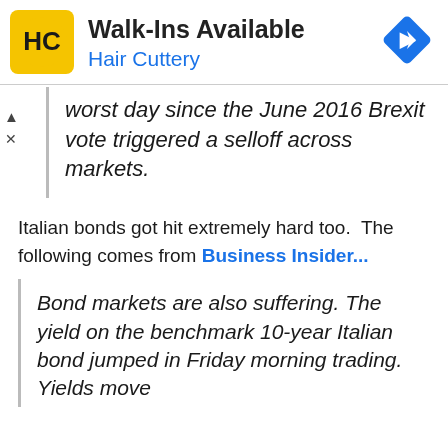[Figure (logo): Hair Cuttery advertisement banner with yellow HC logo, text 'Walk-Ins Available' and 'Hair Cuttery', and a blue diamond navigation icon]
worst day since the June 2016 Brexit vote triggered a selloff across markets.
Italian bonds got hit extremely hard too. The following comes from Business Insider...
Bond markets are also suffering. The yield on the benchmark 10-year Italian bond jumped in Friday morning trading. Yields move...